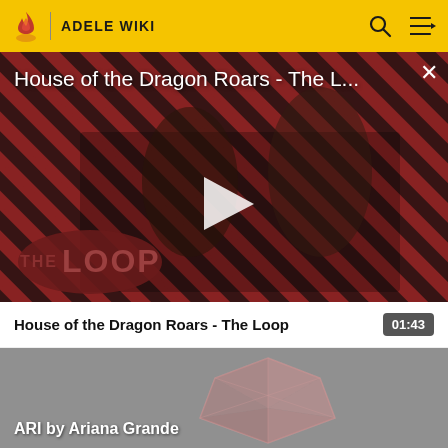ADELE WIKI
[Figure (screenshot): Video player showing House of the Dragon Roars - The Loop with diagonal red and black striped background, two characters visible, THE LOOP logo at bottom left, white play button in center. Title overlay reads: House of the Dragon Roars - The L... Close X button top right.]
House of the Dragon Roars - The Loop   01:43
[Figure (photo): Thumbnail of a geometric crystal or glass bowl object on grey background. Title overlay: ARI by Ariana Grande]